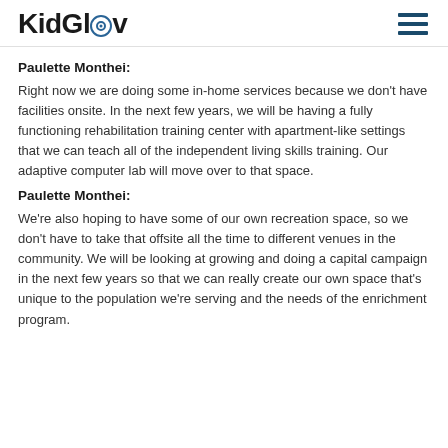KidGlov
Paulette Monthei:
Right now we are doing some in-home services because we don't have facilities onsite. In the next few years, we will be having a fully functioning rehabilitation training center with apartment-like settings that we can teach all of the independent living skills training. Our adaptive computer lab will move over to that space.
Paulette Monthei:
We're also hoping to have some of our own recreation space, so we don't have to take that offsite all the time to different venues in the community. We will be looking at growing and doing a capital campaign in the next few years so that we can really create our own space that's unique to the population we're serving and the needs of the enrichment program.